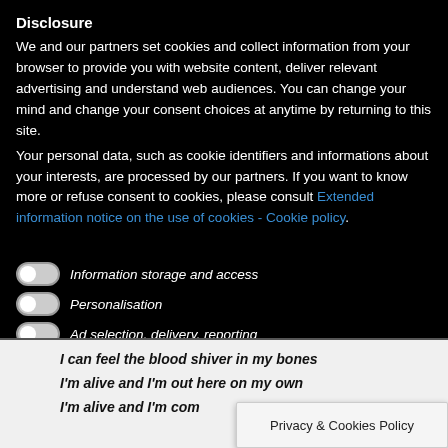Disclosure
We and our partners set cookies and collect information from your browser to provide you with website content, deliver relevant advertising and understand web audiences. You can change your mind and change your consent choices at anytime by returning to this site.
Your personal data, such as cookie identifiers and informations about your interests, are processed by our partners. If you want to know more or refuse consent to cookies, please consult Extended information notice on the use of cookies - Cookie policy.
Information storage and access
Personalisation
Ad selection, delivery, reporting
I can feel the blood shiver in my bones
I'm alive and I'm out here on my own
I'm alive and I'm com
Privacy & Cookies Policy